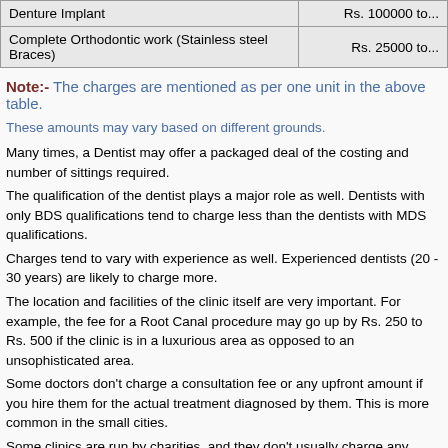| Procedure | Cost |
| --- | --- |
| Denture Implant | Rs. 100000 to... |
| Complete Orthodontic work (Stainless steel Braces) | Rs. 25000 to... |
Note:- The charges are mentioned as per one unit in the above table.
These amounts may vary based on different grounds.
Many times, a Dentist may offer a packaged deal of the costing and number of sittings required.
The qualification of the dentist plays a major role as well. Dentists with only BDS qualifications tend to charge less than the dentists with MDS qualifications.
Charges tend to vary with experience as well. Experienced dentists (20 - 30 years) are likely to charge more.
The location and facilities of the clinic itself are very important. For example, the fee for a Root Canal procedure may go up by Rs. 250 to Rs. 500 if the clinic is in a luxurious area as opposed to an unsophisticated area.
Some doctors don't charge a consultation fee or any upfront amount if you hire them for the actual treatment diagnosed by them. This is more common in the small cities.
Some clinics are run by charities, and they don't usually charge any